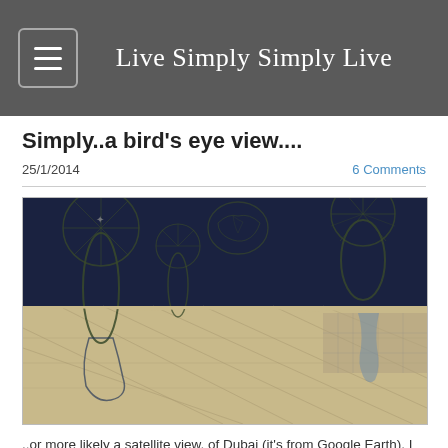Live Simply Simply Live
Simply..a bird's eye view....
25/1/2014
6 Comments
[Figure (photo): Satellite/Google Earth view of Dubai showing palm island developments and coastline with desert landscape]
..or more likely a satellite view, of Dubai (it's from Google Earth). I was